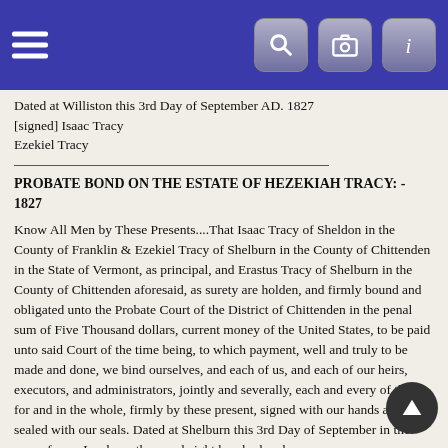Navigation bar with hamburger menu and icons
Dated at Williston this 3rd Day of September AD. 1827
[signed] Isaac Tracy
Ezekiel Tracy
PROBATE BOND ON THE ESTATE OF HEZEKIAH TRACY: - 1827
Know All Men by These Presents....That Isaac Tracy of Sheldon in the County of Franklin & Ezekiel Tracy of Shelburn in the County of Chittenden in the State of Vermont, as principal, and Erastus Tracy of Shelburn in the County of Chittenden aforesaid, as surety are holden, and firmly bound and obligated unto the Probate Court of the District of Chittenden in the penal sum of Five Thousand dollars, current money of the United States, to be paid unto said Court of the time being, to which payment, well and truly to be made and done, we bind ourselves, and each of us, and each of our heirs, executors, and administrators, jointly and severally, each and every of them, for and in the whole, firmly by these present, signed with our hands and sealed with our seals. Dated at Shelburn this 3rd Day of September in the year of your Lord one thousand eight hundred and